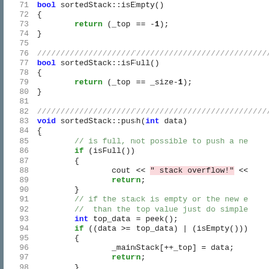[Figure (screenshot): Code editor screenshot showing C++ source code for a sortedStack class, lines 71-98, with syntax highlighting. Contains methods isEmpty(), isFull(), and push(int data) with colored keywords, comments, and a highlighted string literal.]